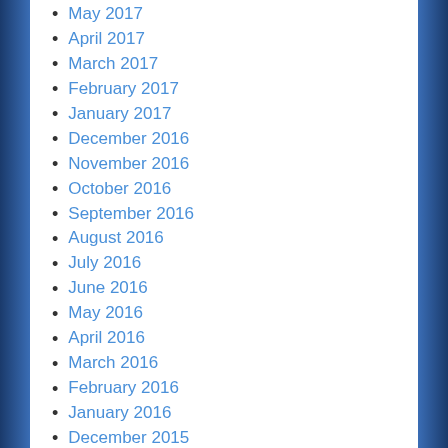May 2017
April 2017
March 2017
February 2017
January 2017
December 2016
November 2016
October 2016
September 2016
August 2016
July 2016
June 2016
May 2016
April 2016
March 2016
February 2016
January 2016
December 2015
November 2015
October 2015
September 2015
August 2015
July 2015